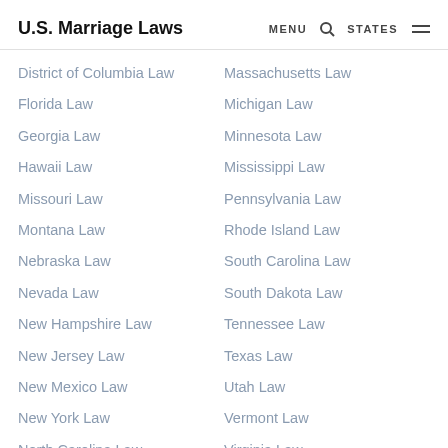U.S. Marriage Laws  MENU  STATES
District of Columbia Law
Massachusetts Law
Florida Law
Michigan Law
Georgia Law
Minnesota Law
Hawaii Law
Mississippi Law
Missouri Law
Pennsylvania Law
Montana Law
Rhode Island Law
Nebraska Law
South Carolina Law
Nevada Law
South Dakota Law
New Hampshire Law
Tennessee Law
New Jersey Law
Texas Law
New Mexico Law
Utah Law
New York Law
Vermont Law
North Carolina Law
Virginia Law